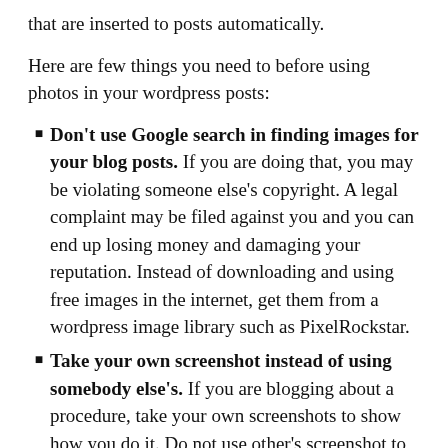that are inserted to posts automatically.
Here are few things you need to before using photos in your wordpress posts:
Don't use Google search in finding images for your blog posts. If you are doing that, you may be violating someone else's copyright. A legal complaint may be filed against you and you can end up losing money and damaging your reputation. Instead of downloading and using free images in the internet, get them from a wordpress image library such as PixelRockstar.
Take your own screenshot instead of using somebody else's. If you are blogging about a procedure, take your own screenshots to show how you do it. Do not use other's screenshot to avoid copyright issues in the future.